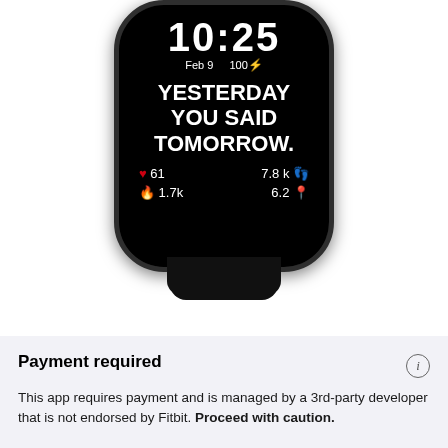[Figure (photo): Fitbit smartwatch with black band showing a custom watch face displaying time 10:25, date Feb 9, battery 100%, motivational text 'YESTERDAY YOU SAID TOMORROW.', heart rate 61, steps 7.8k, calories 1.7k, and distance 6.2]
Payment required
This app requires payment and is managed by a 3rd-party developer that is not endorsed by Fitbit. Proceed with caution.